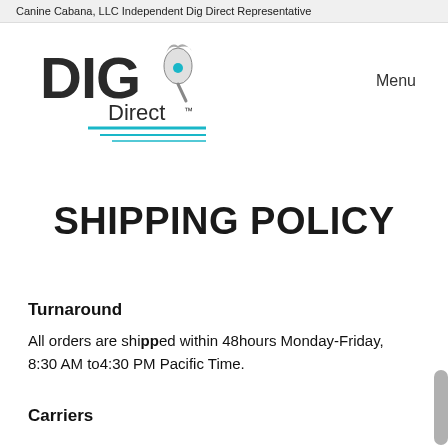Canine Cabana, LLC Independent Dig Direct Representative
[Figure (logo): DIG Direct logo with stylized dog/shovel graphic and teal speed lines beneath the text]
Menu
SHIPPING POLICY
Turnaround
All orders are shipped within 48hours Monday-Friday, 8:30 AM to4:30 PM Pacific Time.
Carriers